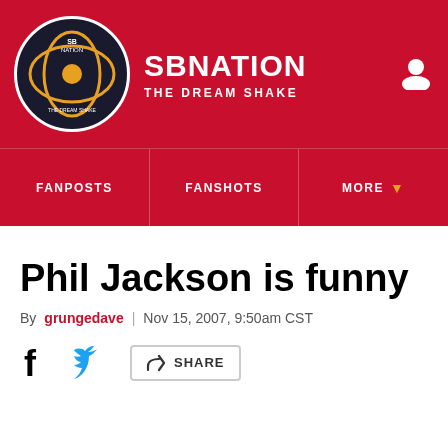SB NATION / THE DREAM SHAKE
Phil Jackson is funny
By grungedave | Nov 15, 2007, 9:50am CST